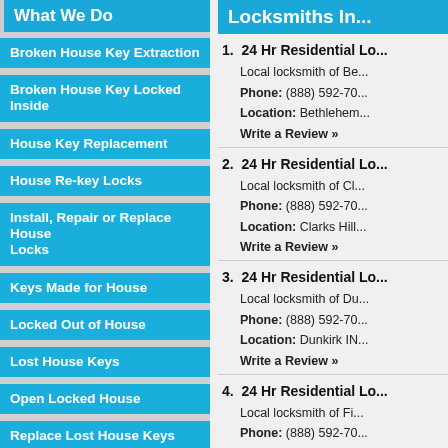What We Do
Broken House Key Extraction
Broken House Key Locked Inside
House Key Replacement
House Re-key Locks
Install, Repair or Replace House Locks
Keys Made for House
Locked Out of House
Lost House Keys
Open Locked House
Replace Lost House Keys
Latest Blog Entries
Locksmiths In...
1. 24 Hr Residential Lo...
Local locksmith of Be...
Phone: (888) 592-70...
Location: Bethlehem...
Write a Review »
2. 24 Hr Residential Lo...
Local locksmith of Cl...
Phone: (888) 592-70...
Location: Clarks Hill...
Write a Review »
3. 24 Hr Residential Lo...
Local locksmith of Du...
Phone: (888) 592-70...
Location: Dunkirk IN...
Write a Review »
4. 24 Hr Residential Lo...
Local locksmith of Fi...
Phone: (888) 592-70...
Location: Fish...